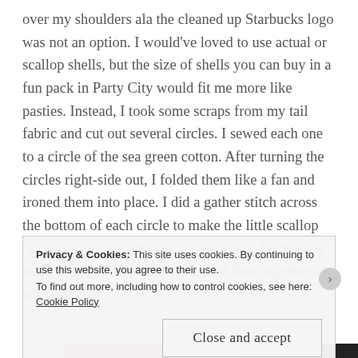over my shoulders ala the cleaned up Starbucks logo was not an option. I would've loved to use actual or scallop shells, but the size of shells you can buy in a fun pack in Party City would fit me more like pasties. Instead, I took some scraps from my tail fabric and cut out several circles. I sewed each one to a circle of the sea green cotton. After turning the circles right-side out, I folded them like a fan and ironed them into place. I did a gather stitch across the bottom of each circle to make the little scallop tail (probably not actually called a tail). Each circle made a half scallop, and I attached them together with hot glue.
Privacy & Cookies: This site uses cookies. By continuing to use this website, you agree to their use.
To find out more, including how to control cookies, see here: Cookie Policy
Close and accept